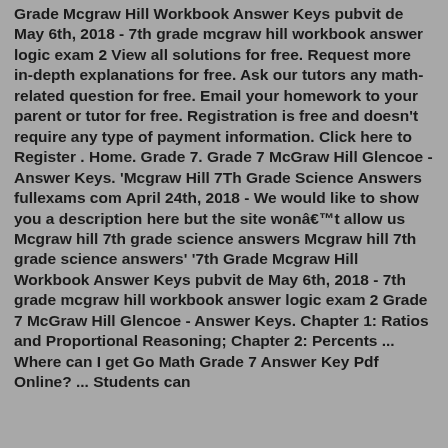Grade Mcgraw Hill Workbook Answer Keys pubvit de May 6th, 2018 - 7th grade mcgraw hill workbook answer logic exam 2 View all solutions for free. Request more in-depth explanations for free. Ask our tutors any math-related question for free. Email your homework to your parent or tutor for free. Registration is free and doesn't require any type of payment information. Click here to Register . Home. Grade 7. Grade 7 McGraw Hill Glencoe - Answer Keys. 'Mcgraw Hill 7Th Grade Science Answers fullexams com April 24th, 2018 - We would like to show you a description here but the site wonâ€™t allow us Mcgraw hill 7th grade science answers Mcgraw hill 7th grade science answers' '7th Grade Mcgraw Hill Workbook Answer Keys pubvit de May 6th, 2018 - 7th grade mcgraw hill workbook answer logic exam 2 Grade 7 McGraw Hill Glencoe - Answer Keys. Chapter 1: Ratios and Proportional Reasoning; Chapter 2: Percents ... Where can I get Go Math Grade 7 Answer Key Pdf Online? ... Students can